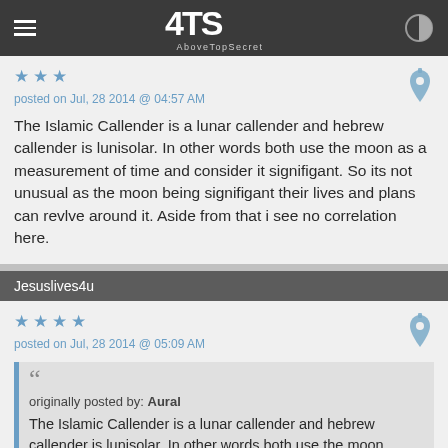ATS AboveTopSecret
posted on Jul, 28 2014 @ 04:57 AM
The Islamic Callender is a lunar callender and hebrew callender is lunisolar. In other words both use the moon as a measurement of time and consider it signifigant. So its not unusual as the moon being signifigant their lives and plans can revlve around it. Aside from that i see no correlation here.
Jesuslives4u
posted on Jul, 28 2014 @ 05:09 AM
originally posted by: Aural
The Islamic Callender is a lunar callender and hebrew callender is lunisolar. In other words both use the moon as a measurement of time and consider it signifigant. So its not